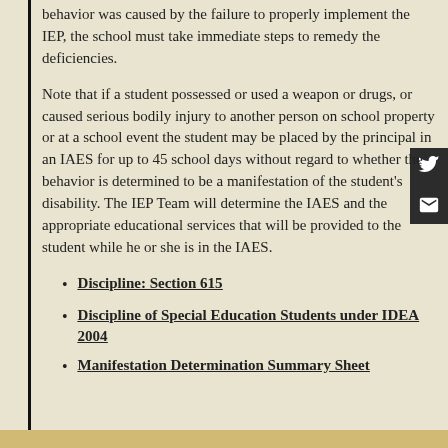behavior was caused by the failure to properly implement the IEP, the school must take immediate steps to remedy the deficiencies.
Note that if a student possessed or used a weapon or drugs, or caused serious bodily injury to another person on school property or at a school event the student may be placed by the principal in an IAES for up to 45 school days without regard to whether the behavior is determined to be a manifestation of the student's disability. The IEP Team will determine the IAES and the appropriate educational services that will be provided to the student while he or she is in the IAES.
Discipline: Section 615
Discipline of Special Education Students under IDEA 2004
Manifestation Determination Summary Sheet